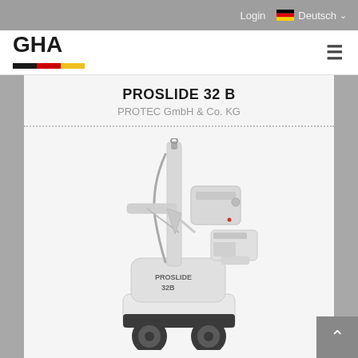Login  Deutsch
[Figure (logo): GHA logo with German flag colored underline (black, red, gold) and hamburger menu icon]
PROSLIDE 32 B
PROTEC GmbH & Co. KG
[Figure (photo): Photo of the PROSLIDE 32B mobile X-ray unit by PROTEC GmbH & Co. KG — a white wheeled medical device with a vertical column, articulating arm, X-ray tube head, and control panel labeled PROSLIDE 32B]